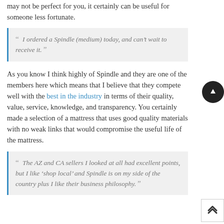may not be perfect for you, it certainly can be useful for someone less fortunate.
“ I ordered a Spindle (medium) today, and can’t wait to receive it. ”
As you know I think highly of Spindle and they are one of the members here which means that I believe that they compete well with the best in the industry in terms of their quality, value, service, knowledge, and transparency. You certainly made a selection of a mattress that uses good quality materials with no weak links that would compromise the useful life of the mattress.
“ The AZ and CA sellers I looked at all had excellent points, but I like ‘shop local’ and Spindle is on my side of the country plus I like their business philosophy. ”